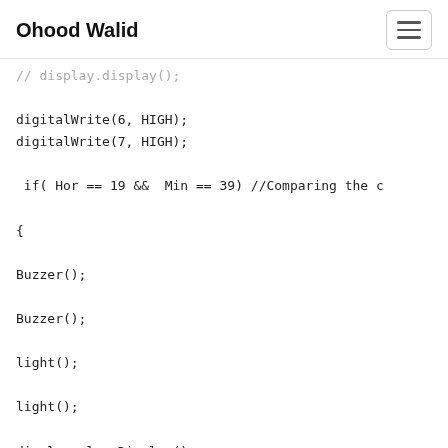Ohood Walid
// display.display();

digitalWrite(6, HIGH);
digitalWrite(7, HIGH);

 if( Hor == 19 &&  Min == 39) //Comparing the 

{

Buzzer();

Buzzer();

light();

light();

display.clearDisplay();
display.setTextSize(1.5);